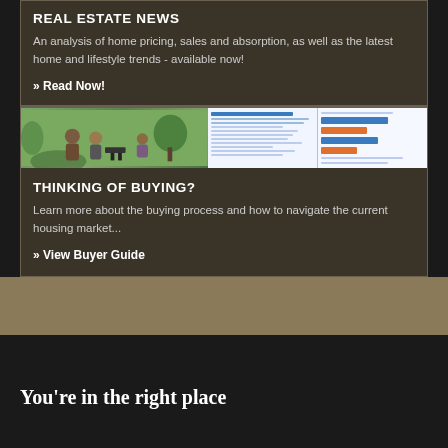REAL ESTATE NEWS
An analysis of home pricing, sales and absorption, as well as the latest home and lifestyle trends - available now!
» Read Now!
[Figure (photo): Left: people gathered around a grill outdoors. Right: two document pages showing text and a bar chart.]
THINKING OF BUYING?
Learn more about the buying process and how to navigate the current housing market...
» View Buyer Guide
You're in the right place